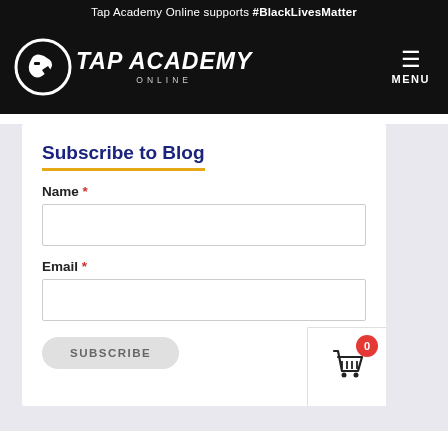Tap Academy Online supports #BlackLivesMatter
[Figure (logo): Tap Academy Online logo with circular emblem and bold italic text]
Subscribe to Blog
Name *
Email *
SUBSCRIBE